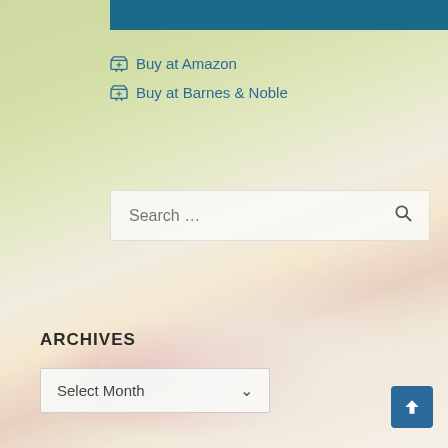[Figure (photo): Background photo of books with pink flowers on a wooden table, with blurred green bokeh background]
🛒 Buy at Amazon
🛒 Buy at Barnes & Noble
Search ...
ARCHIVES
Select Month